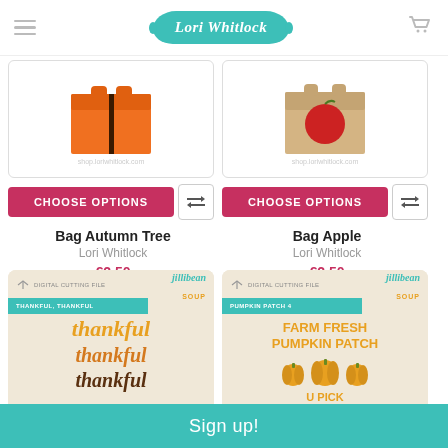Lori Whitlock
[Figure (photo): Orange gift bag with autumn tree design (Bag Autumn Tree product image)]
CHOOSE OPTIONS
Bag Autumn Tree
Lori Whitlock
€2.50
[Figure (photo): Kraft/tan gift bag with apple design (Bag Apple product image)]
CHOOSE OPTIONS
Bag Apple
Lori Whitlock
€2.50
[Figure (photo): Jillibean Soup digital cutting file - Thankful, Thankful design showing 'thankful' in three styles]
[Figure (photo): Jillibean Soup digital cutting file - Pumpkin Patch 4 design showing 'Farm Fresh Pumpkin Patch U Pick' with pumpkins]
Sign up!